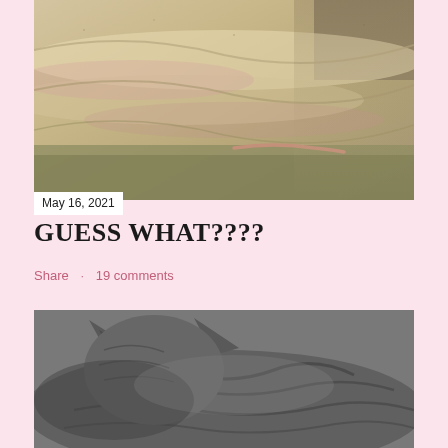[Figure (photo): Close-up photo of sandy, textured fabric or towel with pinkish-tan tones, showing a small worm or similar creature resting in the folds]
May 16, 2021
GUESS WHAT????
Share   19 comments
[Figure (photo): Black and white close-up photo of a sleeping cat, showing fur texture and ears]